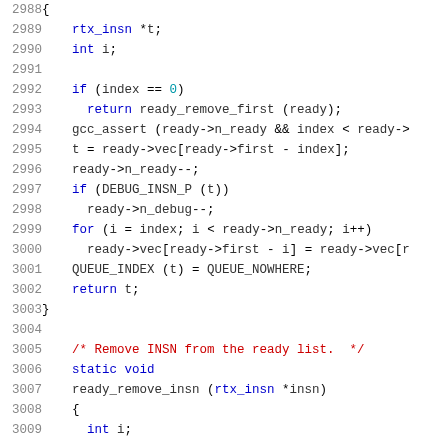[Figure (screenshot): Source code listing showing C code for ready list manipulation functions, lines 2988-3009, with syntax highlighting: line numbers in gray, keywords in blue, comments in red, function/macro names in orange.]